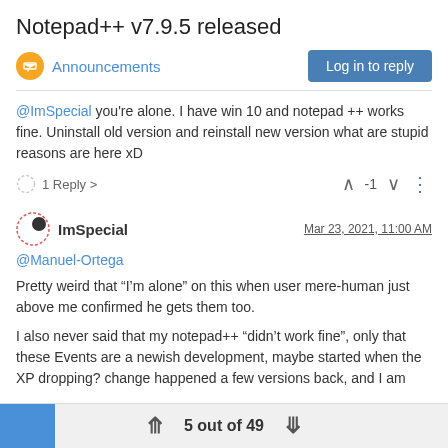Notepad++ v7.9.5 released
Announcements
Log in to reply
@ImSpecial you're alone. I have win 10 and notepad ++ works fine. Uninstall old version and reinstall new version what are stupid reasons are here xD
1 Reply >  -1
ImSpecial  Mar 23, 2021, 11:00 AM
@Manuel-Ortega
Pretty weird that “I’m alone” on this when user mere-human just above me confirmed he gets them too.
I also never said that my notepad++ “didn’t work fine”, only that these Events are a newish development, maybe started when the XP dropping? change happened a few versions back, and I am
5 out of 49